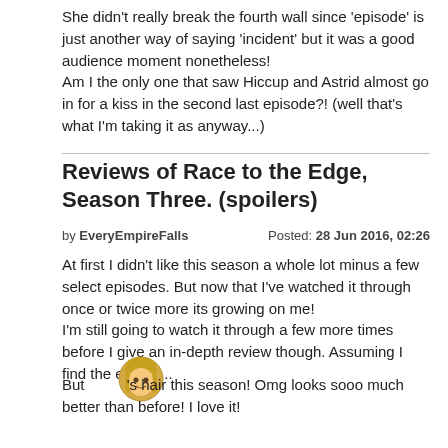She didn't really break the fourth wall since 'episode' is just another way of saying 'incident' but it was a good audience moment nonetheless!
Am I the only one that saw Hiccup and Astrid almost go in for a kiss in the second last episode?! (well that's what I'm taking it as anyway...)
Reviews of Race to the Edge, Season Three. (spoilers)
by EveryEmpireFalls    Posted: 28 Jun 2016, 02:26
At first I didn't like this season a whole lot minus a few select episodes. But now that I've watched it through once or twice more its growing on me!
I'm still going to watch it through a few more times before I give an in-depth review though. Assuming I find the energy...
But [emoji]'s hair this season! Omg looks sooo much better than before! I love it!